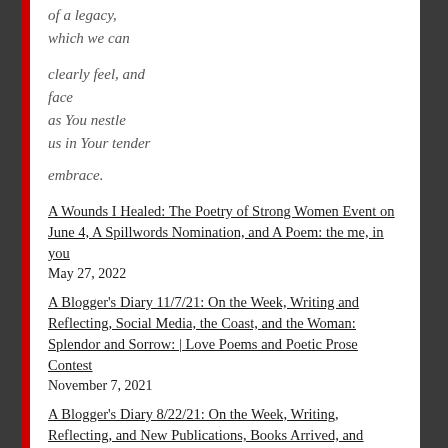of a legacy,
which we can
clearly feel, and
face
as You nestle
us in Your tender
embrace.
A Wounds I Healed: The Poetry of Strong Women Event on June 4, A Spillwords Nomination, and A Poem: the me, in you
May 27, 2022
A Blogger's Diary 11/7/21: On the Week, Writing and Reflecting, Social Media, the Coast, and the Woman: Splendor and Sorrow: | Love Poems and Poetic Prose Contest
November 7, 2021
A Blogger's Diary 8/22/21: On the Week, Writing, Reflecting, and New Publications, Books Arrived, and Social Media Poetry
August 22, 2021